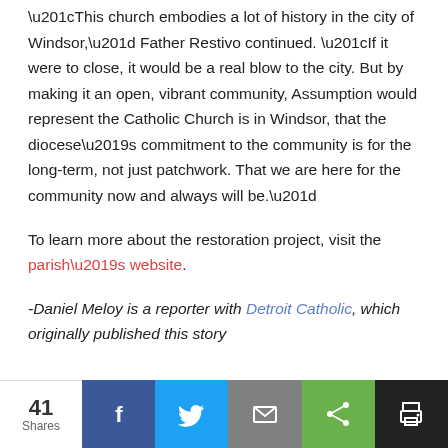“This church embodies a lot of history in the city of Windsor,” Father Restivo continued. “If it were to close, it would be a real blow to the city. But by making it an open, vibrant community, Assumption would represent the Catholic Church is in Windsor, that the diocese’s commitment to the community is for the long-term, not just patchwork. That we are here for the community now and always will be.”
To learn more about the restoration project, visit the parish’s website.
-Daniel Meloy is a reporter with Detroit Catholic, which originally published this story
[Figure (infographic): Social share bar with 41 Shares count, Facebook, Twitter, Email, generic share, and Print buttons]